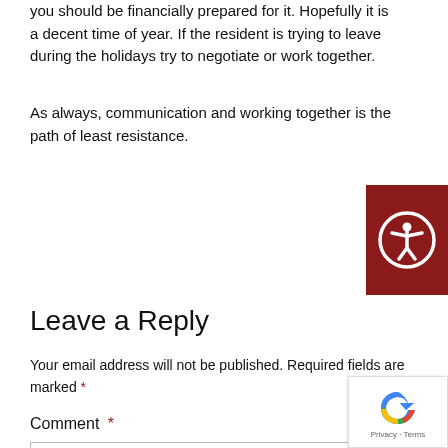you should be financially prepared for it. Hopefully it is a decent time of year. If the resident is trying to leave during the holidays try to negotiate or work together.
As always, communication and working together is the path of least resistance.
[Figure (logo): Accessibility icon — white person with outstretched arms in a circle on a dark red/maroon square background]
Leave a Reply
Your email address will not be published. Required fields are marked *
Comment *
[Figure (logo): Google reCAPTCHA badge with logo and Privacy · Terms text]